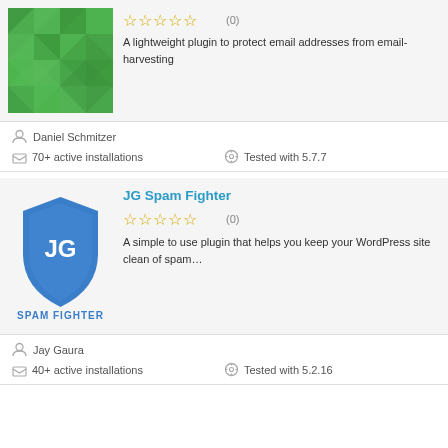[Figure (illustration): Green mosaic/geometric pattern plugin icon for first plugin]
☆☆☆☆☆ (0)
A lightweight plugin to protect email addresses from email-harvesting
Daniel Schmitzer
70+ active installations
Tested with 5.7.7
JG Spam Fighter
[Figure (logo): JG Spam Fighter shield logo — blue shield with JG letters and SPAM FIGHTER text below]
☆☆☆☆☆ (0)
A simple to use plugin that helps you keep your WordPress site clean of spam…
Jay Gaura
40+ active installations
Tested with 5.2.16